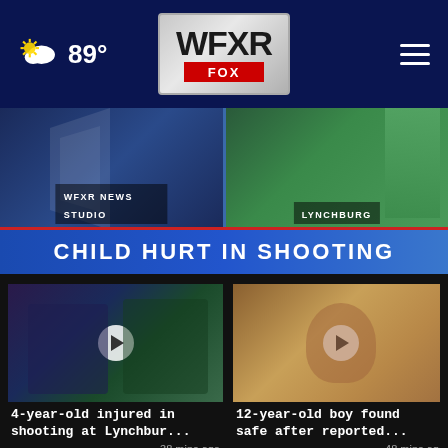WFXR FOX — 89°
[Figure (screenshot): WFXR News broadcast screenshot showing news studio and Lynchburg reporter split screen with 'CHILD HURT IN SHOOTING' lower-third banner]
WFXR NEWS STUDIO
LYNCHBURG
CHILD HURT IN SHOOTING
[Figure (screenshot): Video thumbnail showing two news anchors, play button overlay]
4-year-old injured in shooting at Lynchbur...
38 mins ago
[Figure (screenshot): Video thumbnail showing a young boy's face, play button overlay]
12-year-old boy found safe after reported...
48 mins ago
[Figure (screenshot): Partial video thumbnail, third story beginning with 'Furry waitin']
Furry waitin...
More Videos ›
Listen to the new podcast about adoption.
[Figure (logo): Adopt US Kids logo and ad council logo]